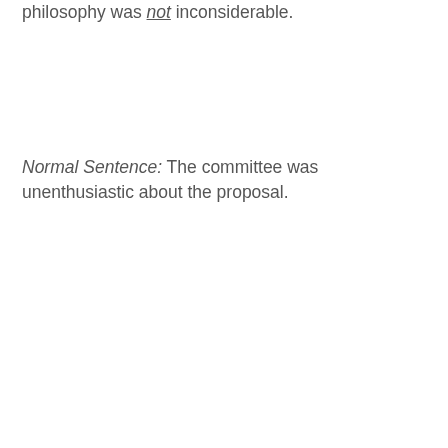philosophy was not inconsiderable.
Normal Sentence: The committee was unenthusiastic about the proposal.